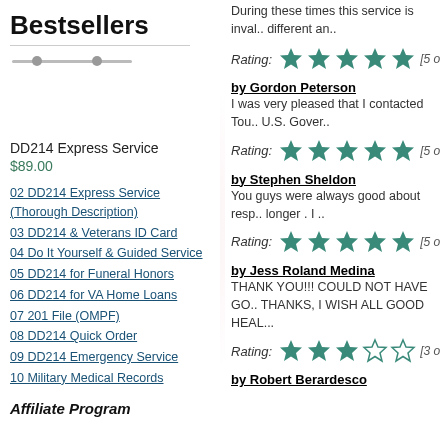Bestsellers
DD214 Express Service
$89.00
02 DD214 Express Service (Thorough Description)
03 DD214 & Veterans ID Card
04 Do It Yourself & Guided Service
05 DD214 for Funeral Honors
06 DD214 for VA Home Loans
07 201 File (OMPF)
08 DD214 Quick Order
09 DD214 Emergency Service
10 Military Medical Records
Affiliate Program
During these times this service is inval.. different an..
[Figure (other): 5-star rating row with italic Rating: label and 5 filled stars]
by Gordon Peterson
I was very pleased that I contacted Tou.. U.S. Gover..
[Figure (other): 5-star rating row with italic Rating: label and 5 filled stars]
by Stephen Sheldon
You guys were always good about resp.. longer . I ..
[Figure (other): 5-star rating row with italic Rating: label and 5 filled stars]
by Jess Roland Medina
THANK YOU!!! COULD NOT HAVE GO.. THANKS, I WISH ALL GOOD HEAL...
[Figure (other): 3-star rating row with italic Rating: label, 3 filled stars and 2 empty stars]
by Robert Berardesco